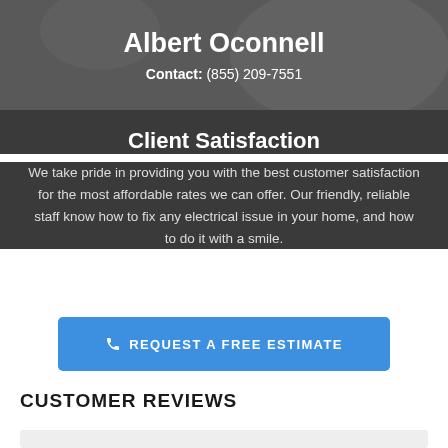Albert Oconnell
Contact: (855) 209-7551
Client Satisfaction
We take pride in providing you with the best customer satisfaction for the most affordable rates we can offer. Our friendly, reliable staff know how to fix any electrical issue in your home, and how to do it with a smile.
REQUEST A FREE ESTIMATE
CUSTOMER REVIEWS